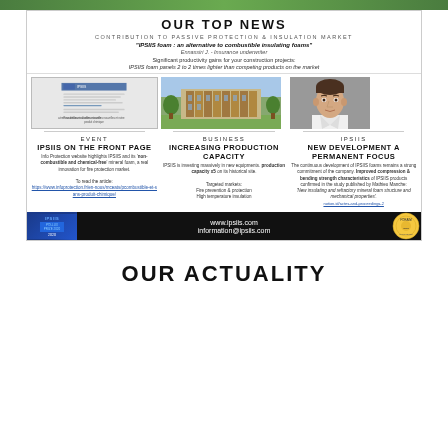OUR TOP NEWS
CONTRIBUTION TO PASSIVE PROTECTION & INSULATION MARKET
"IPSIIS foam : an alternative to combustible insulating foams"
Ennassiri J. - Insurance underwriter
Significant productivity gains for your construction projects: IPSIIS foam panels 2 to 2 times lighter than competing products on the market
[Figure (illustration): Document/report image with blue header and text lines]
[Figure (photo): Modern building with wooden facade and green surroundings]
[Figure (photo): Portrait of a young man in white shirt]
EVENT
IPSIIS ON THE FRONT PAGE
Info Protection website highlights IPSIIS and its 'non-combustible and chemical-free' mineral foam, a real innovation for fire protection market. To read the article: https://www.infoprotection.fr/en-nous/mceats/pcombustible-et-sans-produit-chimique/
BUSINESS
INCREASING PRODUCTION CAPACITY
IPSIIS is investing massively in new equipments. production capacity x5 on its historical site. Targeted markets: Fire prevention & protection, High temperature insulation
IPSIIS
NEW DEVELOPMENT A PERMANENT FOCUS
The continuous development of IPSIIS foams remains a strong commitment of the company. Improved compression & bending strength characteristics of IPSIIS products confirmed in the study published by Mathieu Manche: 'New insulating and refractory mineral foam structure and mechanical properties'. notion.id/actes-and-proceedings-2
www.ipsiis.com
information@ipsiis.com
OUR ACTUALITY